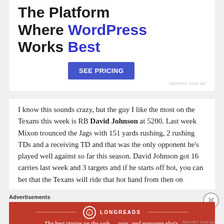[Figure (infographic): Advertisement banner: 'The Platform Where WordPress Works Best' with a blue 'SEE PRICING' button and 'REPORT THIS AD' text]
I know this sounds crazy, but the guy I like the most on the Texans this week is RB David Johnson at 5200. Last week Mixon trounced the Jags with 151 yards rushing, 2 rushing TDs and a receiving TD and that was the only opponent he's played well against so far this season. David Johnson got 16 carries last week and 3 targets and if he starts off hot, you can bet that the Texans will ride that hot hand from then on
[Figure (infographic): Longreads advertisement: red banner with Longreads logo and tagline 'The best stories on the web — ours, and everyone else's.']